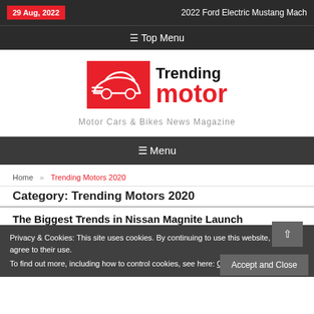29 Aug, 2022 | 2022 Ford Electric Mustang Mach
☰ Top Menu
[Figure (logo): Trending Motor logo — red rectangle with white car silhouette, 'Trending' in black bold and 'motor' in red bold]
Motor Cars & Bikes News Magazine
☰ Menu
Home » Trending Motors 2020
Privacy & Cookies: This site uses cookies. By continuing to use this website, you agree to their use.
To find out more, including how to control cookies, see here: Cookie Policy
Category: Trending Motors 2020
The Biggest Trends in Nissan Magnite Launch